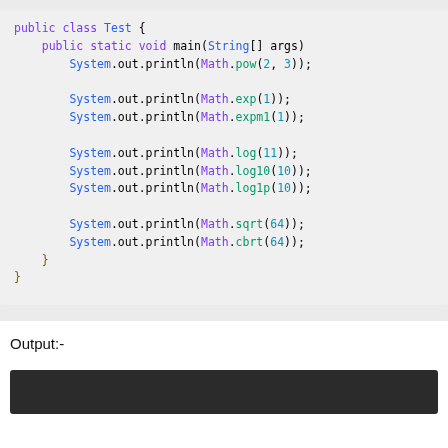[Figure (screenshot): Java code block showing public class Test with main method containing Math.pow, Math.exp, Math.expm1, Math.log, Math.log10, Math.log1p, Math.sqrt, Math.cbrt calls inside System.out.println statements]
Output:-
[Figure (screenshot): Dark terminal/console output area (black/dark gray bar)]